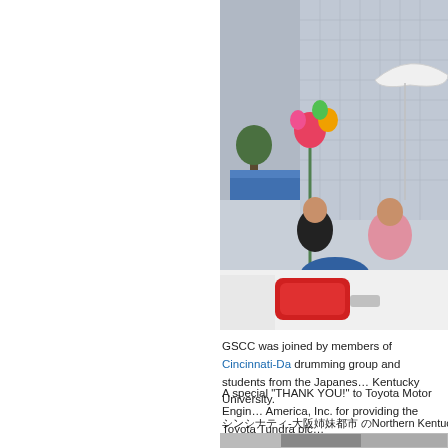[Figure (photo): Two people sitting in the bed of a white Toyota Tundra pickup truck during what appears to be a parade or event. One person holds colorful flowers, another holds a white umbrella. City buildings visible in the background.]
GSCC was joined by members of Cincinnati-Da drumming group and students from the Japanese Kentucky University.
A special "THANK YOU!" to Toyota Motor Engin America, Inc. for providing the Toyota Tundra pic
シンシナティ-大阪姉妹都市 のNorthern Kentuckyシンシナティ大阪の
[Figure (photo): Partial view of another photo at the bottom of the page.]